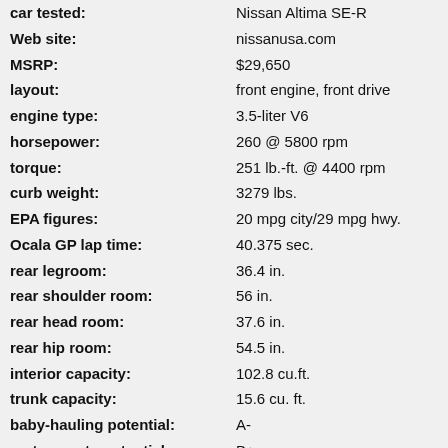| Attribute | Value |
| --- | --- |
| car tested: | Nissan Altima SE-R |
| Web site: | nissanusa.com |
| MSRP: | $29,650 |
| layout: | front engine, front drive |
| engine type: | 3.5-liter V6 |
| horsepower: | 260 @ 5800 rpm |
| torque: | 251 lb.-ft. @ 4400 rpm |
| curb weight: | 3279 lbs. |
| EPA figures: | 20 mpg city/29 mpg hwy. |
| Ocala GP lap time: | 40.375 sec. |
| rear legroom: | 36.4 in. |
| rear shoulder room: | 56 in. |
| rear head room: | 37.6 in. |
| rear hip room: | 54.5 in. |
| interior capacity: | 102.8 cu.ft. |
| trunk capacity: | 15.6 cu. ft. |
| baby-hauling potential: | A- |
| motorsports potential: | B+ |